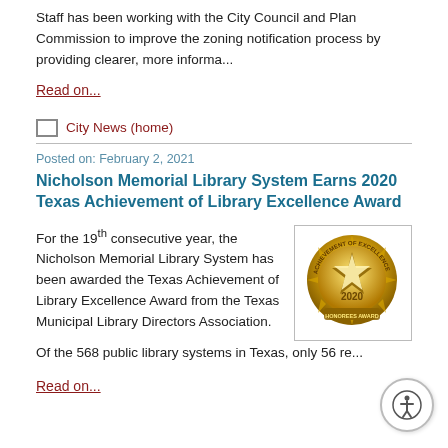Staff has been working with the City Council and Plan Commission to improve the zoning notification process by providing clearer, more informa...
Read on...
City News (home)
Posted on: February 2, 2021
Nicholson Memorial Library System Earns 2020 Texas Achievement of Library Excellence Award
For the 19th consecutive year, the Nicholson Memorial Library System has been awarded the Texas Achievement of Library Excellence Award from the Texas Municipal Library Directors Association.
[Figure (illustration): Gold medal/badge for 2020 Achievement of Excellence Honorees Award]
Of the 568 public library systems in Texas, only 56 re...
Read on...